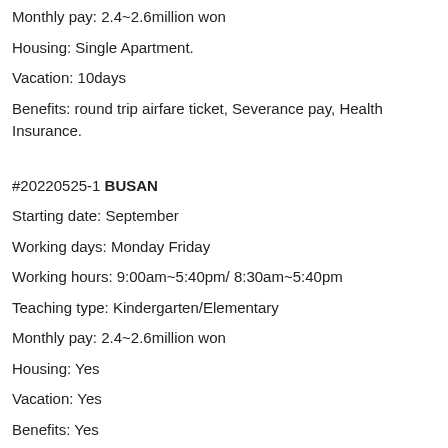Monthly pay: 2.4~2.6million won
Housing: Single Apartment.
Vacation: 10days
Benefits: round trip airfare ticket, Severance pay, Health Insurance.
#20220525-1 BUSAN
Starting date: September
Working days: Monday Friday
Working hours: 9:00am~5:40pm/ 8:30am~5:40pm
Teaching type: Kindergarten/Elementary
Monthly pay: 2.4~2.6million won
Housing: Yes
Vacation: Yes
Benefits: Yes
Does the school pay monthly contributions into a Pension Plan? : YesIs